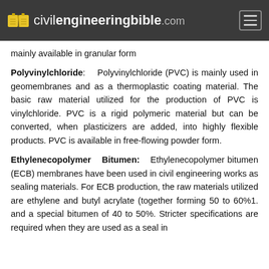civilengineeringbible.com
mainly available in granular form
Polyvinylchloride: Polyvinylchloride (PVC) is mainly used in geomembranes and as a thermoplastic coating material. The basic raw material utilized for the production of PVC is vinylchloride. PVC is a rigid polymeric material but can be converted, when plasticizers are added, into highly flexible products. PVC is available in free-flowing powder form.
Ethylenecopolymer Bitumen: Ethylenecopolymer bitumen (ECB) membranes have been used in civil engineering works as sealing materials. For ECB production, the raw materials utilized are ethylene and butyl acrylate (together forming 50 to 60%1. and a special bitumen of 40 to 50%. Stricter specifications are required when they are used as a seal in